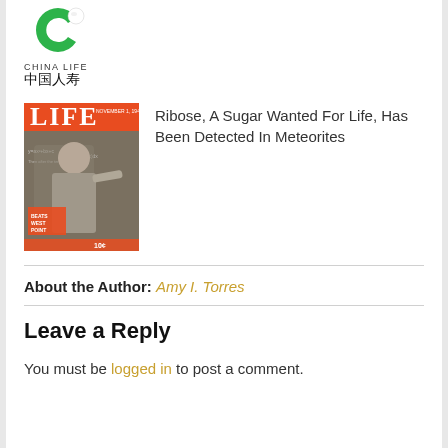[Figure (logo): China Life logo — green C-shape with white ball, text CHINA LIFE and Chinese characters 中国人寿]
[Figure (photo): LIFE magazine cover thumbnail showing a man in front of a chalkboard with mathematical equations; orange banner reads LIFE; bottom text BEATS WEST POINT; price 10 cents]
Ribose, A Sugar Wanted For Life, Has Been Detected In Meteorites
About the Author: Amy I. Torres
Leave a Reply
You must be logged in to post a comment.